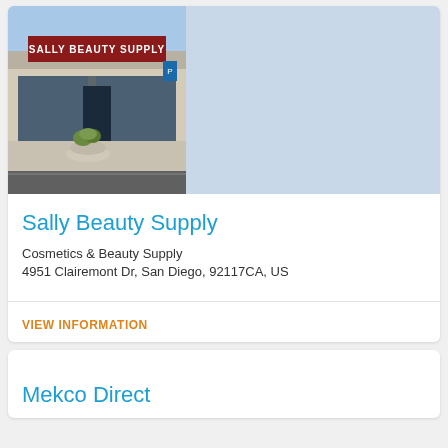[Figure (photo): Exterior photo of a Sally Beauty Supply retail store, showing storefront with red signage reading 'Sally Beauty Supply', beige facade, glass doors, and a potted plant near the entrance. Parking lot visible in foreground.]
Sally Beauty Supply
Cosmetics & Beauty Supply
4951 Clairemont Dr, San Diego, 92117CA, US
VIEW INFORMATION
Mekco Direct